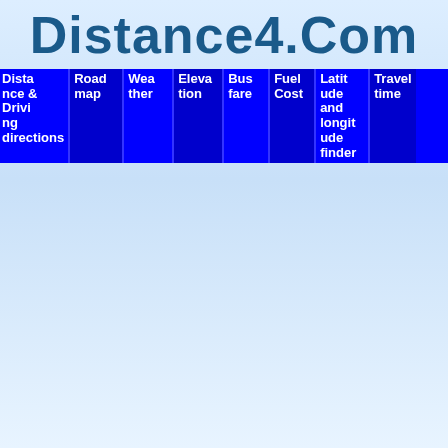Distance4.Com
Dista Road map Driving directions  Wea  Eleva  Bus fare  Fuel Cost  Latit and longitude finder  Travel time